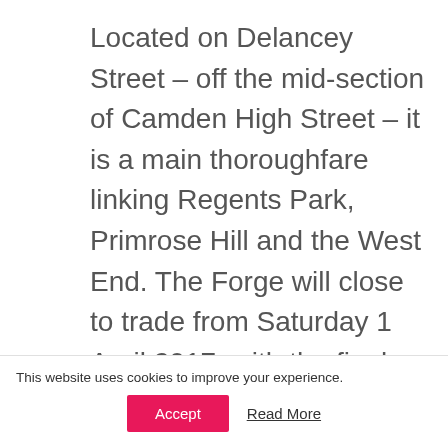Located on Delancey Street – off the mid-section of Camden High Street – it is a main thoroughfare linking Regents Park, Primrose Hill and the West End. The Forge will close to trade from Saturday 1 April 2017, with the final event taking place on Friday 31st March. Over the last eight years it has played host to a musically and culturally diverse programme of
This website uses cookies to improve your experience.
Accept   Read More